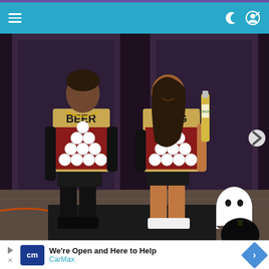Navigation bar with hamburger menu and user icons
[Figure (photo): Two people wearing Halloween costumes styled as a beer pong game. The person on the left wears all black with a cardboard sign reading 'BEER' and has white plastic cups arranged in a triangle on a red background attached to their chest. The person on the right wears a black outfit with a cardboard sign reading 'PONG' and similar cup arrangement. The woman on the right holds a Corona beer bottle. A white ghost decoration and black jack-o-lantern are visible at bottom right.]
We're Open and Here to Help
CarMax